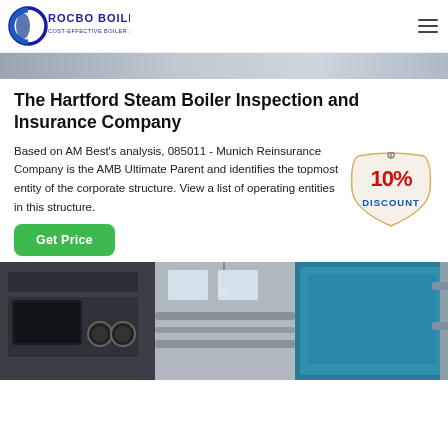ROCBO BOILER — COST-EFFECTIVE BOILER SUPPLIER
[Figure (photo): Partial top strip of a boiler/industrial equipment image]
The Hartford Steam Boiler Inspection and Insurance Company
Based on AM Best's analysis, 085011 - Munich Reinsurance Company is the AMB Ultimate Parent and identifies the topmost entity of the corporate structure. View a list of operating entities in this structure.
[Figure (illustration): 10% DISCOUNT badge/sticker in red and yellow]
[Figure (photo): Industrial boiler room interior showing large boilers, pipes, and equipment]
Get Price